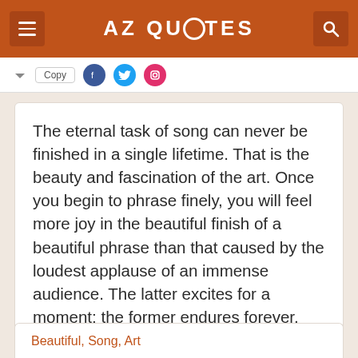AZ QUOTES
The eternal task of song can never be finished in a single lifetime. That is the beauty and fascination of the art. Once you begin to phrase finely, you will feel more joy in the beautiful finish of a beautiful phrase than that caused by the loudest applause of an immense audience. The latter excites for a moment; the former endures forever.
Nellie Melba
Beautiful, Song, Art